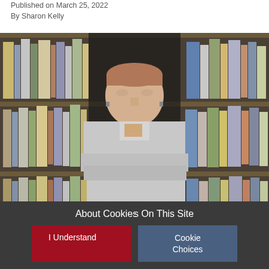Published on March 25, 2022
By Sharon Kelly
[Figure (photo): Composer Max Richter standing in front of a bookshelf filled with books and scores, wearing a light grey shirt with arms crossed.]
Composer Max Richter. Photo: Deutsche Grammophon/Jennifer
About Cookies On This Site
I Understand
Cookie Choices